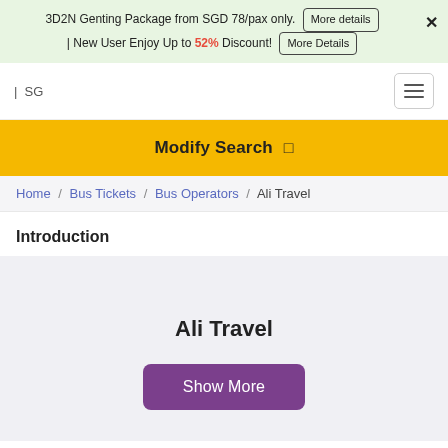3D2N Genting Package from SGD 78/pax only. More details | New User Enjoy Up to 52% Discount! More Details ×
| SG
Modify Search
Home / Bus Tickets / Bus Operators / Ali Travel
Introduction
Ali Travel
Show More